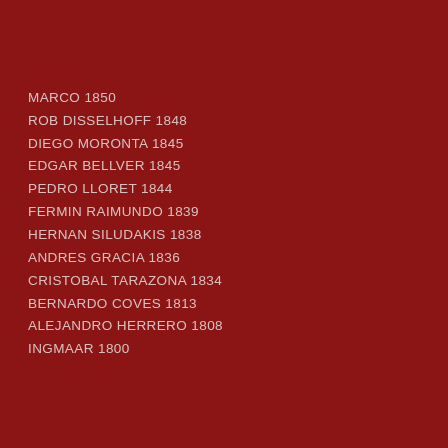MARCO 1850
ROB DISSELHOFF 1848
DIEGO MORONTA 1845
EDGAR BELLVER 1845
PEDRO LLORET 1844
FERMIN RAIMUNDO 1839
HERNAN SILUDAKIS 1838
ANDRES GRACIA 1836
CRISTOBAL TARAZONA 1834
BERNARDO COVES 1813
ALEJANDRO HERRERO 1808
INGMAAR 1800